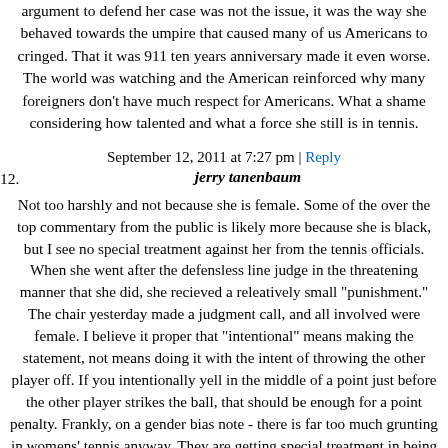argument to defend her case was not the issue, it was the way she behaved towards the umpire that caused many of us Americans to cringed. That it was 911 ten years anniversary made it even worse. The world was watching and the American reinforced why many foreigners don't have much respect for Americans. What a shame considering how talented and what a force she still is in tennis.
September 12, 2011 at 7:27 pm | Reply
12. jerry tanenbaum
Not too harshly and not because she is female. Some of the over the top commentary from the public is likely more because she is black, but I see no special treatment against her from the tennis officials. When she went after the defensless line judge in the threatening manner that she did, she recieved a releatively small "punishment." The chair yesterday made a judgment call, and all involved were female. I believe it proper that "intentional" means making the statement, not means doing it with the intent of throwing the other player off. If you intentionally yell in the middle of a point just before the other player strikes the ball, that should be enough for a point penalty. Frankly, on a gender bias note - there is far too much grunting in womens' tennis anyway. They are getting special treatment in being allowed to yell as they do.